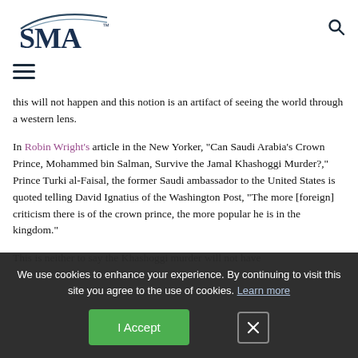[Figure (logo): SMA logo with stylized arc above letters]
[Figure (other): Search icon (magnifying glass)]
[Figure (other): Hamburger menu icon (three horizontal lines)]
this will not happen and this notion is an artifact of seeing the world through a western lens.
In Robin Wright's article in the New Yorker, “Can Saudi Arabia’s Crown Prince, Mohammed bin Salman, Survive the Jamal Khashoggi Murder?,” Prince Turki al-Faisal, the former Saudi ambassador to the United States is quoted telling David Ignatius of the Washington Post, “The more [foreign] criticism there is of the crown prince, the more popular he is in the kingdom.”
This is neither to say the Khashoggi murder will not have
We use cookies to enhance your experience. By continuing to visit this site you agree to the use of cookies. Learn more
I Accept
reforms. Before the murder MBS was extremely popular with